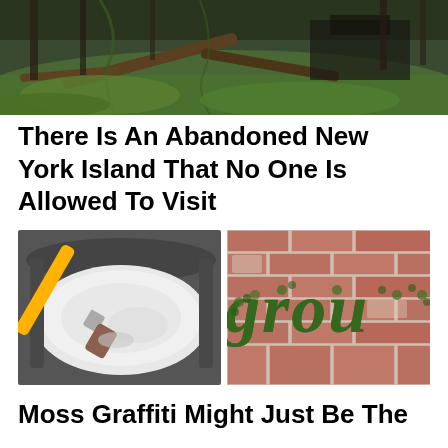[Figure (photo): Aerial/ground view of an overgrown, abandoned area with fallen trees, dense green vegetation, and decaying structures in the background.]
There Is An Abandoned New York Island That No One Is Allowed To Visit
[Figure (photo): A paintbrush with yellow handle dipped into a white milky liquid mixture in a dark bucket or container.]
[Figure (photo): Green moss graffiti spelling 'grou' (part of 'grow') on a weathered red brick wall.]
Moss Graffiti Might Just Be The